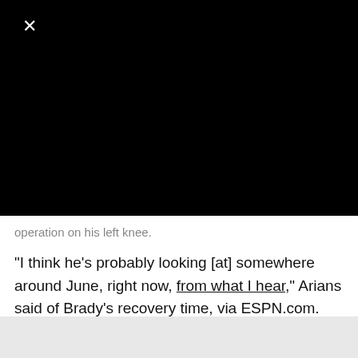[Figure (screenshot): Black video/media player area with a white X close button in the upper left corner]
operation on his left knee.
"I think he's probably looking [at] somewhere around June, right now, from what I hear," Arians said of Brady's recovery time, via ESPN.com.